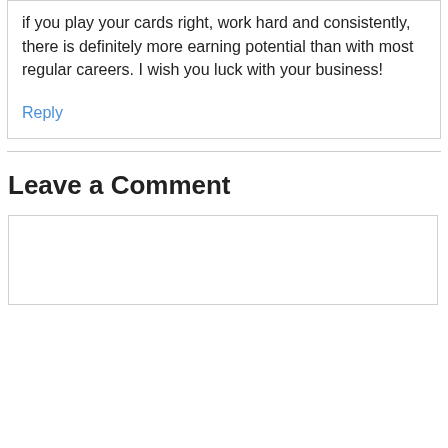if you play your cards right, work hard and consistently, there is definitely more earning potential than with most regular careers. I wish you luck with your business!
Reply
Leave a Comment